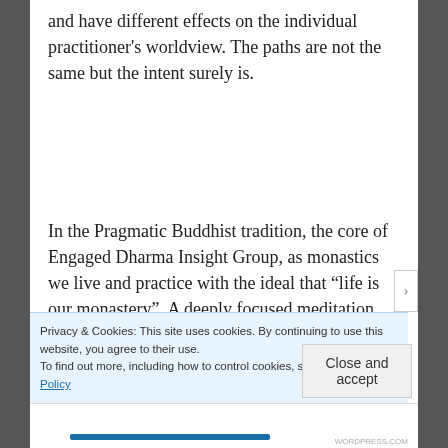and have different effects on the individual practitioner's worldview. The paths are not the same but the intent surely is.
In the Pragmatic Buddhist tradition, the core of Engaged Dharma Insight Group, as monastics we live and practice with the ideal that “life is our monastery”. A deeply focused meditation practice is engaged on the cushion, but equally important is that we extend that
Privacy & Cookies: This site uses cookies. By continuing to use this website, you agree to their use.
To find out more, including how to control cookies, see here: Cookie Policy
Close and accept